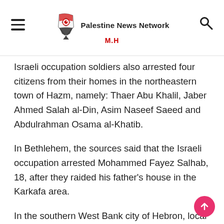Palestine News Network M.H
Israeli occupation soldiers also arrested four citizens from their homes in the northeastern town of Hazm, namely: Thaer Abu Khalil, Jaber Ahmed Salah al-Din, Asim Naseef Saeed and Abdulrahman Osama al-Khatib.
In Bethlehem, the sources said that the Israeli occupation arrested Mohammed Fayez Salhab, 18, after they raided his father's house in the Karkafa area.
In the southern West Bank city of Hebron, local sources